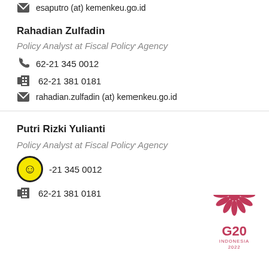esaputro (at) kemenkeu.go.id
Rahadian Zulfadin
Policy Analyst at Fiscal Policy Agency
62-21 345 0012
62-21 381 0181
rahadian.zulfadin (at) kemenkeu.go.id
Putri Rizki Yulianti
Policy Analyst at Fiscal Policy Agency
62-21 345 0012
62-21 381 0181
[Figure (logo): G20 Indonesia 2022 logo in red/pink with decorative crown motif]